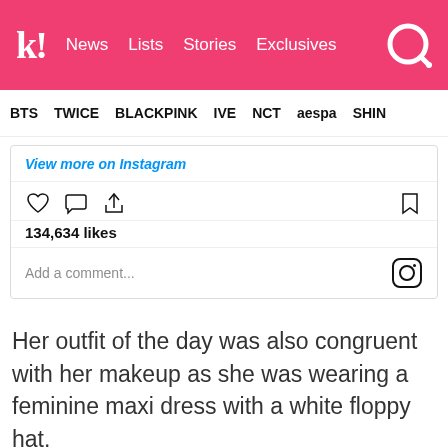k! News Lists Stories Exclusives
BTS TWICE BLACKPINK IVE NCT aespa SHINE
[Figure (screenshot): Instagram embed showing 'View more on Instagram' link, action icons (heart, comment, share, bookmark), 134,634 likes, and 'Add a comment...' field with Instagram logo]
Her outfit of the day was also congruent with her makeup as she was wearing a feminine maxi dress with a white floppy hat.
[Figure (screenshot): Instagram profile preview for hyunah_aa with verified checkmark and 'View profile' button]